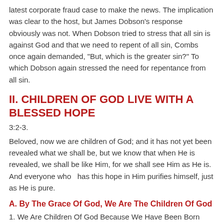latest corporate fraud case to make the news. The implication was clear to the host, but James Dobson's response obviously was not. When Dobson tried to stress that all sin is against God and that we need to repent of all sin, Combs once again demanded, “But, which is the greater sin?” To which Dobson again stressed the need for repentance from all sin.
II. CHILDREN OF GOD LIVE WITH A BLESSED HOPE
3:2-3.
Beloved, now we are children of God; and it has not yet been revealed what we shall be, but we know that when He is revealed, we shall be like Him, for we shall see Him as He is. And everyone who   has this hope in Him purifies himself, just as He is pure.
A. By The Grace Of God, We Are The Children Of God
1. We Are Children Of God Because We Have Been Born Again